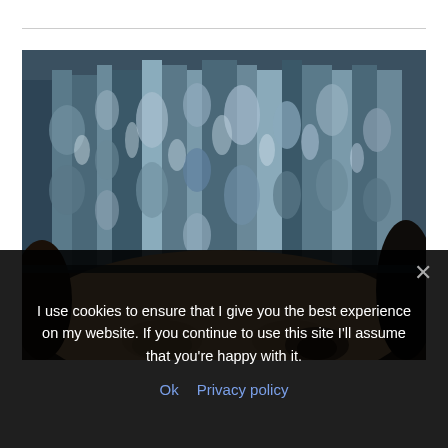[Figure (photo): Close-up photograph of a child wearing a chunky knit blue-grey beanie hat, showing mainly the top of the head and eyes looking up. The hat has thick ribbed texture with alternating blue-grey and white yarn.]
I use cookies to ensure that I give you the best experience on my website. If you continue to use this site I'll assume that you're happy with it.
Ok  Privacy policy